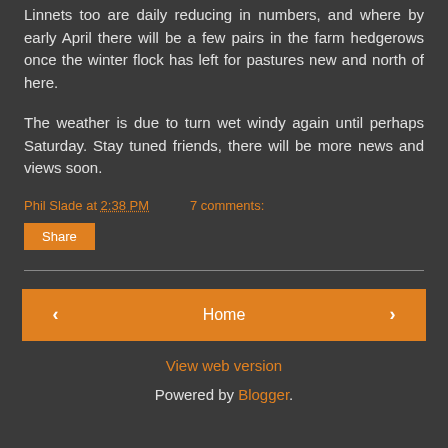Linnets too are daily reducing in numbers, and where by early April there will be a few pairs in the farm hedgerows once the winter flock has left for pastures new and north of here.
The weather is due to turn wet windy again until perhaps Saturday. Stay tuned friends, there will be more news and views soon.
Phil Slade at 2:38 PM   7 comments:
Share
‹   Home   ›
View web version
Powered by Blogger.